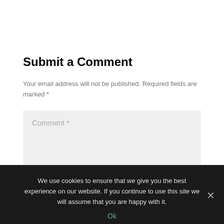Submit a Comment
Your email address will not be published. Required fields are marked *
[Figure (screenshot): Comment text input field placeholder showing 'Comment *' on a light grey background]
We use cookies to ensure that we give you the best experience on our website. If you continue to use this site we will assume that you are happy with it.
Ok